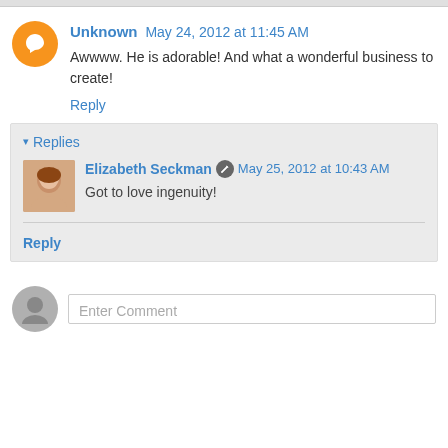Unknown May 24, 2012 at 11:45 AM
Awwww. He is adorable! And what a wonderful business to create!
Reply
Replies
Elizabeth Seckman May 25, 2012 at 10:43 AM
Got to love ingenuity!
Reply
Enter Comment